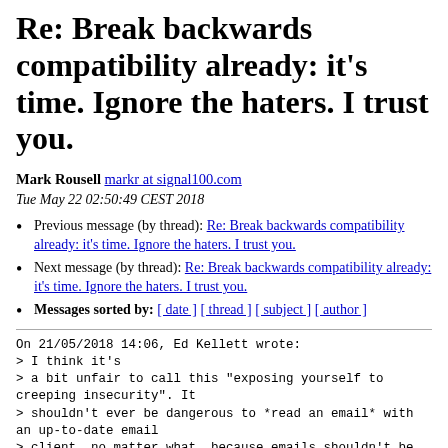Re: Break backwards compatibility already: it’s time. Ignore the haters. I trust you.
Mark Rousell markr at signal100.com
Tue May 22 02:50:49 CEST 2018
Previous message (by thread): Re: Break backwards compatibility already: it’s time. Ignore the haters. I trust you.
Next message (by thread): Re: Break backwards compatibility already: it’s time. Ignore the haters. I trust you.
Messages sorted by: [ date ] [ thread ] [ subject ] [ author ]
On 21/05/2018 14:06, Ed Kellett wrote:
> I think it's
> a bit unfair to call this "exposing yourself to creeping insecurity". It
> shouldn't ever be dangerous to *read an email* with an up-to-date email
> client, no matter what, because emails shouldn't be able to phone home.
> And the emails we're sending and receiving now aren't